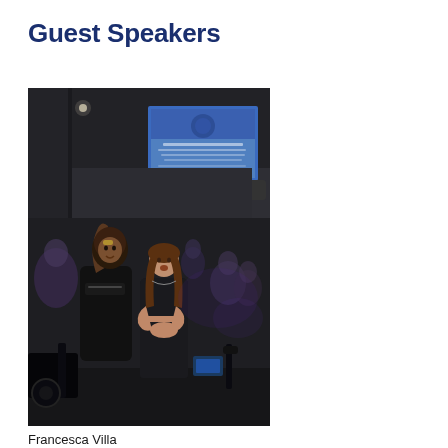Guest Speakers
[Figure (photo): Two women standing in a cycling studio with exercise bikes and a crowd in the background. A large screen is visible on the wall showing a presentation slide. The room is dimly lit with spot lighting.]
Francesca Villa